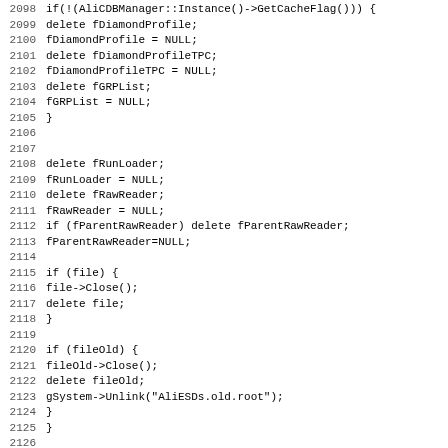Source code listing lines 2098-2130, C++ code for AliReconstruction class